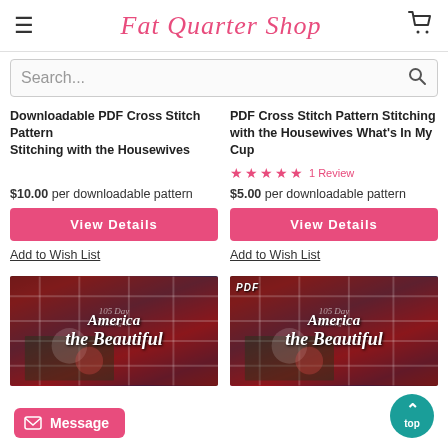Fat Quarter Shop
Search...
Downloadable PDF Cross Stitch Pattern Stitching with the Housewives
$10.00 per downloadable pattern
View Details
Add to Wish List
PDF Cross Stitch Pattern Stitching with the Housewives What's In My Cup
★★★★★ 1 Review
$5.00 per downloadable pattern
View Details
Add to Wish List
[Figure (photo): America the Beautiful cross stitch pattern product image with plaid border and floral design]
[Figure (photo): America the Beautiful PDF cross stitch pattern product image with PDF badge, plaid border and floral design]